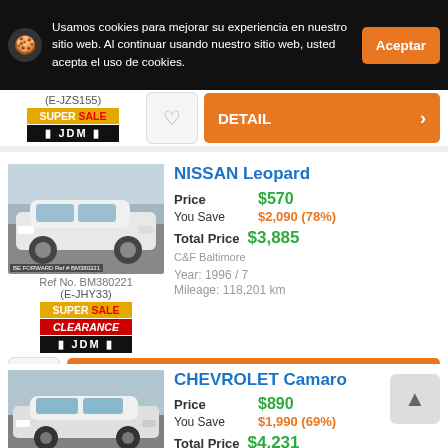Usamos cookies para mejorar su experiencia en nuestro sitio web. Al continuar usando nuestro sitio web, usted acepta el uso de cookies.
(E-JZS155) SUPER SALE JDM
NISSAN Leopard
| Price | $570 |
| You Save | $2,090 (78%) |
| Total Price | $3,885 |
| C&F Baltimore |  |
| Year: 1996 / 7 |  |
| Mileage: 118,201 km |  |
Ref No. BM380221 (E-JHY33) SUPER SALE CLEARANCE JDM
CHEVROLET Camaro
| Price | $890 |
| You Save | $1,990 (69%) |
| Total Price | $4,231 |
[Figure (photo): White Nissan Leopard sedan parked in a lot]
[Figure (photo): White Chevrolet Camaro parked in a lot]